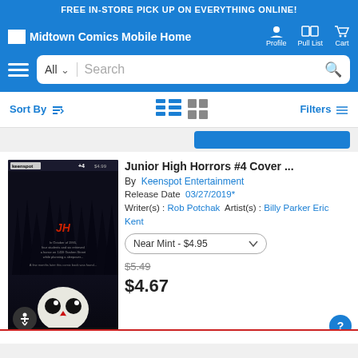FREE IN-STORE PICK UP ON EVERYTHING ONLINE!
[Figure (screenshot): Midtown Comics mobile website header with logo, Profile, Pull List, Cart icons, search bar with All dropdown, and Sort By / view toggle / Filters row]
[Figure (photo): Junior High Horrors #4 comic book cover showing dark forest background with a cartoon character at the bottom]
Junior High Horrors #4 Cover ...
By Keenspot Entertainment
Release Date 03/27/2019*
Writer(s) : Rob Potchak  Artist(s) : Billy Parker Eric Kent
Near Mint - $4.95
$5.49
$4.67